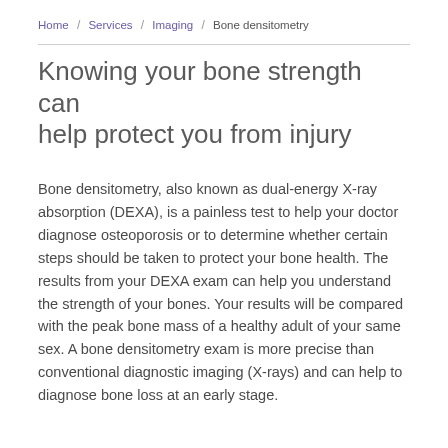Home / Services / Imaging / Bone densitometry
Knowing your bone strength can help protect you from injury
Bone densitometry, also known as dual-energy X-ray absorption (DEXA), is a painless test to help your doctor diagnose osteoporosis or to determine whether certain steps should be taken to protect your bone health. The results from your DEXA exam can help you understand the strength of your bones. Your results will be compared with the peak bone mass of a healthy adult of your same sex. A bone densitometry exam is more precise than conventional diagnostic imaging (X-rays) and can help to diagnose bone loss at an early stage.